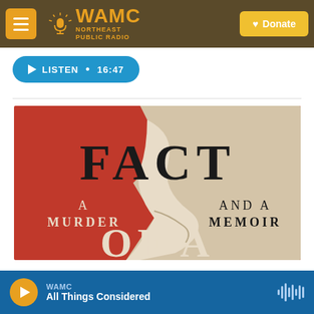WAMC Northeast Public Radio — Donate
[Figure (screenshot): Listen button: blue rounded pill button with play icon, text LISTEN · 16:47]
[Figure (photo): Book cover image showing 'FACT OF A: A Murder and A Memoir' — red and cream torn-paper design]
WAMC — All Things Considered — audio player bar